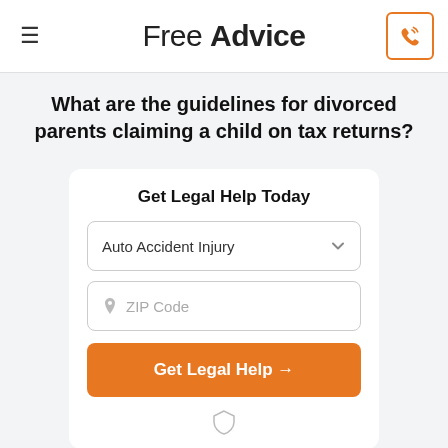Free Advice
What are the guidelines for divorced parents claiming a child on tax returns?
Get Legal Help Today
Auto Accident Injury
ZIP Code
Get Legal Help →